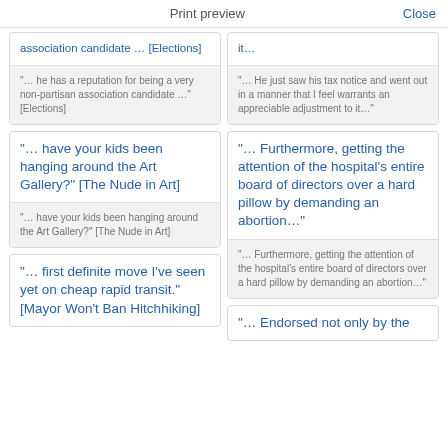Print preview   Close
association candidate … [Elections]
"… he has a reputation for being a very non-partisan association candidate …" [Elections]
it…
"… He just saw his tax notice and went out in a manner that I feel warrants an appreciable adjustment to it…"
"… have your kids been hanging around the Art Gallery?" [The Nude in Art]
"… have your kids been hanging around the Art Gallery?" [The Nude in Art]
"… Furthermore, getting the attention of the hospital's entire board of directors over a hard pillow by demanding an abortion…"
"… Furthermore, getting the attention of the hospital's entire board of directors over a hard pillow by demanding an abortion…"
"… first definite move I've seen yet on cheap rapid transit." [Mayor Won't Ban Hitchhiking]
"… Endorsed not only by the